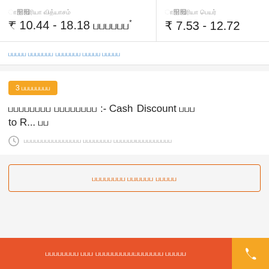₹ 10.44 - 18.18 (Tamil label)*
₹ 7.53 - 12.72
Tamil link text
3 (Tamil badge label)
Tamil title :- Cash Discount (Tamil) to R... (Tamil)
Tamil date/time label
Tamil outline button text
Tamil main CTA button text